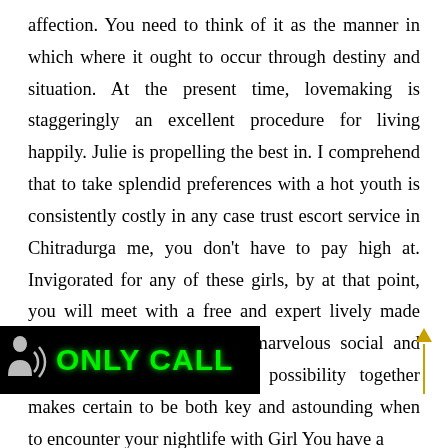affection. You need to think of it as the manner in which where it ought to occur through destiny and situation. At the present time, lovemaking is staggeringly an excellent procedure for living happily. Julie is propelling the best in. I comprehend that to take splendid preferences with a hot youth is consistently costly in any case trust escort service in Chitradurga me, you don't have to pay high at. Invigorated for any of these girls, by at that point, you will meet with a free and expert lively made arrangements to suit you a marvelous social and fascinating experience. Your possibility together makes certain to be both key and astounding when to encounter your nightlife with Girl You have a ible for, data concerning irls and their delineation
[Figure (other): Black banner with white person icon and green glowing text 'ONLY CALL']